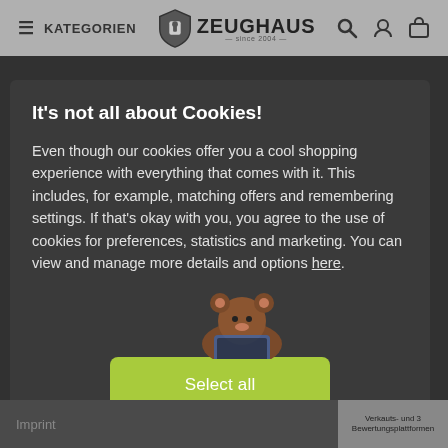KATEGORIEN  ZEUGHAUS
It's not all about Cookies!
Even though our cookies offer you a cool shopping experience with everything that comes with it. This includes, for example, matching offers and remembering settings. If that's okay with you, you agree to the use of cookies for preferences, statistics and marketing. You can view and manage more details and options here.
Select all
Imprint    Verkauts- und 3 Bewertungsplattformen